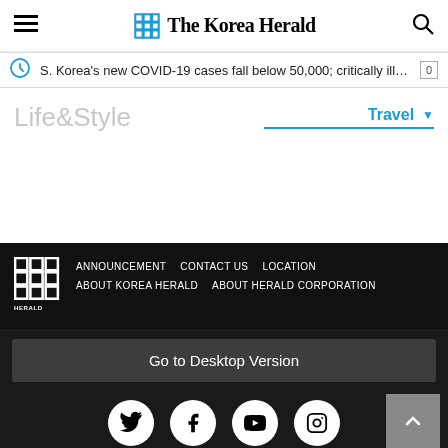The Korea Herald
S. Korea's new COVID-19 cases fall below 50,000; critically ill cases ...
Life&Style
Travel
ANNOUNCEMENT  CONTACT US  LOCATION  ABOUT KOREA HERALD  ABOUT HERALD CORPORATION
Go to Desktop Version